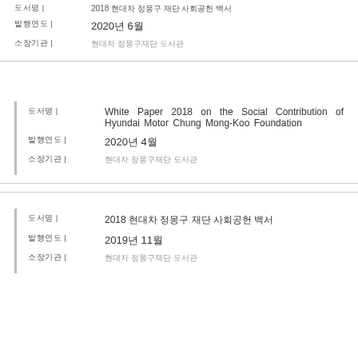도서명 | 2018 현대차 정몽구 재단 사회공헌 백서
발행연도 | 2020년 6월
소장기관 | 현대차 정몽구재단 도서관
도서명 | White Paper 2018 on the Social Contribution of Hyundai Motor Chung Mong-Koo Foundation
발행연도 | 2020년 4월
소장기관 | 현대차 정몽구재단 도서관
도서명 | 2018 현대차 정몽구 재단 사회공헌 백서
발행연도 | 2019년 11월
소장기관 | 현대차 정몽구재단 도서관